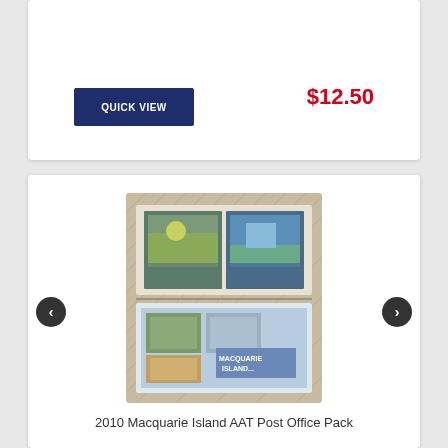QUICK VIEW
$12.50
[Figure (photo): 2010 Macquarie Island AAT Post Office Pack – stamp collection booklet showing multiple stamps with nature scenes and 'Macquarie Island' text]
2010 Macquarie Island AAT Post Office Pack